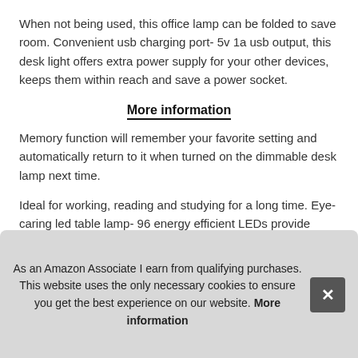When not being used, this office lamp can be folded to save room. Convenient usb charging port- 5v 1a usb output, this desk light offers extra power supply for your other devices, keeps them within reach and save a power socket.
More information
Memory function will remember your favorite setting and automatically return to it when turned on the dimmable desk lamp next time.
Ideal for working, reading and studying for a long time. Eye-caring led table lamp- 96 energy efficient LEDs provide natural and non-glaring light to avoid eye fatigue. Sensitive touch con… adju… dire…
As an Amazon Associate I earn from qualifying purchases. This website uses the only necessary cookies to ensure you get the best experience on our website. More information